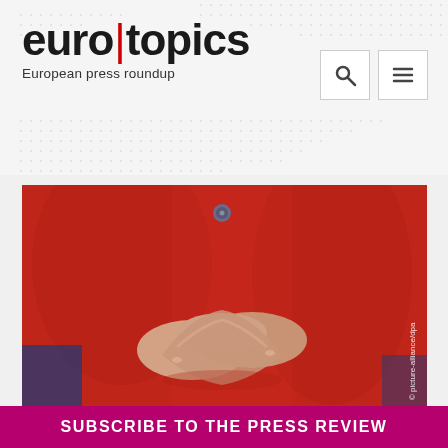[Figure (logo): euro|topics logo with red pipe separator and tagline 'European press roundup', plus search and menu buttons]
[Figure (photo): Close-up photo of a person in a red jacket with hands interlocked in the Merkel diamond/rhombus pose. Credit: © picture-alliance/dpa]
SUBSCRIBE TO THE PRESS REVIEW